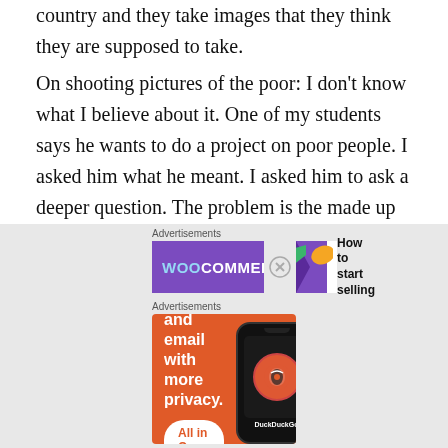country and they take images that they think they are supposed to take.
On shooting pictures of the poor: I don't know what I believe about it. One of my students says he wants to do a project on poor people. I asked him what he meant. I asked him to ask a deeper question. The problem is the made up feelings that privileged people make up about the rest of the world. Be careful what you are trying to say. Try to show what it was like in that place.
[Figure (screenshot): WooCommerce advertisement banner with purple background showing 'How to start selling' text and green arrow shape]
[Figure (screenshot): DuckDuckGo advertisement: 'Search, browse, and email with more privacy. All in One Free App' on orange background with phone mockup showing DuckDuckGo logo]